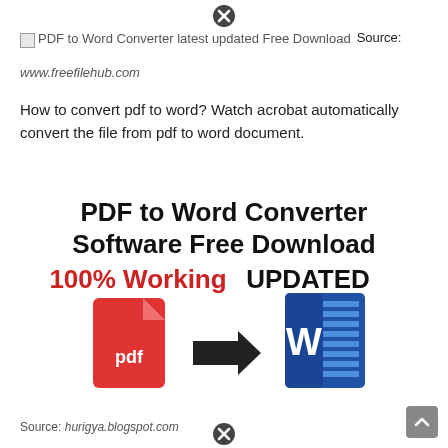[Figure (other): Close (X) button circle at top center of page]
[Figure (other): Broken image placeholder with alt text: PDF to Word Converter latest updated Free Download]
Source:
www.freefilehub.com
How to convert pdf to word? Watch acrobat automatically convert the file from pdf to word document.
[Figure (infographic): PDF to Word Converter Software Free Download 100% Working UPDATED — shows PDF icon with arrow pointing to Word icon]
Source: hurigya.blogspot.com
[Figure (other): Close (X) button circle at bottom center of page]
[Figure (other): Scroll-to-top button at bottom right]